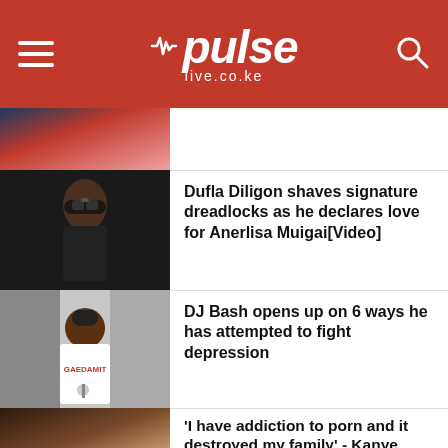pulse live.co.ke
[Figure (photo): Partial top image of a woman in blue outfit]
Dufla Diligon shaves signature dreadlocks as he declares love for Anerlisa Muigai[Video]
[Figure (photo): Man in black t-shirt with sunglasses and dreadlocks]
DJ Bash opens up on 6 ways he has attempted to fight depression
[Figure (photo): Man in white GAEDAMIT t-shirt at a microphone]
'I have addiction to porn and it destroyed my family' - Kanye West
[Figure (photo): Kanye West in a brown jacket at an event]
Bien-Aime Baraza celebrates